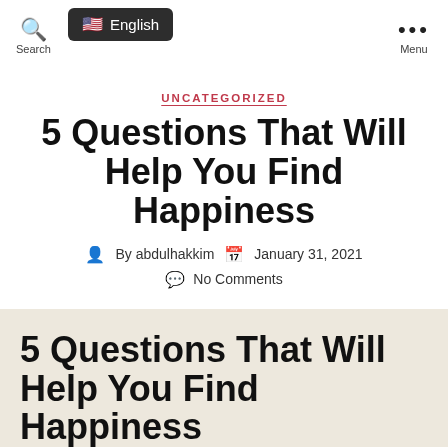Search | English | Menu
UNCATEGORIZED
5 Questions That Will Help You Find Happiness
By abdulhakkim   January 31, 2021   No Comments
5 Questions That Will Help You Find Happiness